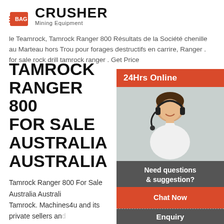[Figure (logo): Crusher Mining Equipment logo with red shopping bag icon and bold CRUSHER text with subtitle Mining Equipment]
le Teamrock, Tamrock Ranger 800 Résultats de la Société chenille au Marteau hors Trou pour forages destructifs en carrire, Ranger . for sale rock drill tamrock ranger . Get Price
TAMROCK RANGER 800 FOR SALE AUSTRALIA AUSTRALIA
Tamrock Ranger 800 For Sale Australia Australia Tamrock. Machines4u and its private sellers and have 2 Tamrock machines for sale. All new Tamr incorporate the latest technology to make the d user experience even more enjoyable. On the ot there are used Tamrock equipment in all sizes a configuration ...
[Figure (photo): 24Hrs Online customer service widget showing a woman with headset, Need questions & suggestion?, Chat Now button, Enquiry link, and limingjlmofen@sina.com email]
TAMROCK RANGER RO DRILL ON SALE – TARG